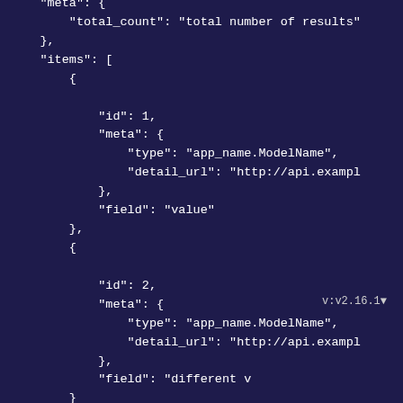"meta": {
        "total_count": "total number of results"
    },
    "items": [
        {
            "id": 1,
            "meta": {
                "type": "app_name.ModelName",
                "detail_url": "http://api.exampl
            },
            "field": "value"
        },
        {
            "id": 2,
            "meta": {
                "type": "app_name.ModelName",
                "detail_url": "http://api.exampl
            },
            "field": "different v
        }
    ]
}